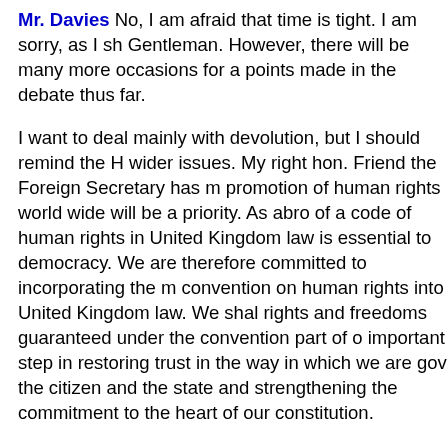Mr. Davies No, I am afraid that time is tight. I am sorry, as I sh Gentleman. However, there will be many more occasions for a points made in the debate thus far.
I want to deal mainly with devolution, but I should remind the H wider issues. My right hon. Friend the Foreign Secretary has m promotion of human rights world wide will be a priority. As abro of a code of human rights in United Kingdom law is essential to democracy. We are therefore committed to incorporating the m convention on human rights into United Kingdom law. We shal rights and freedoms guaranteed under the convention part of o important step in restoring trust in the way in which we are gov the citizen and the state and strengthening the commitment to the heart of our constitution.
We have also made plain the importance that we attach to ope strengthen data protection controls and to publish proposals fo publish draft Bills for introduction in later Sessions on which we shall also seek to ensure more effective scrutiny of those Bills